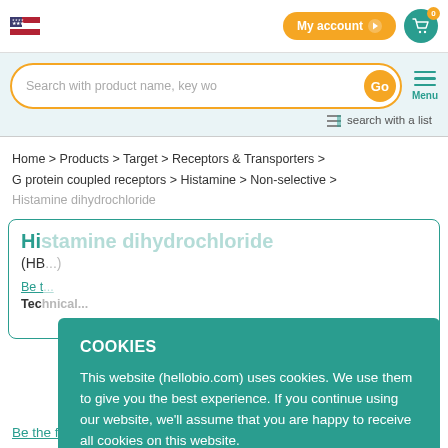My account | Cart (0)
Search with product name, key wo...
search with a list
Home > Products > Target > Receptors & Transporters > G protein coupled receptors > Histamine > Non-selective > Histamine dihydrochloride
Histamine dihydrochloride
(HB...)
Be t...
Technical...
COOKIES
This website (hellobio.com) uses cookies. We use them to give you the best experience. If you continue using our website, we'll assume that you are happy to receive all cookies on this website.
CONTINUE | Learn more | Decline
Be the first to review this product